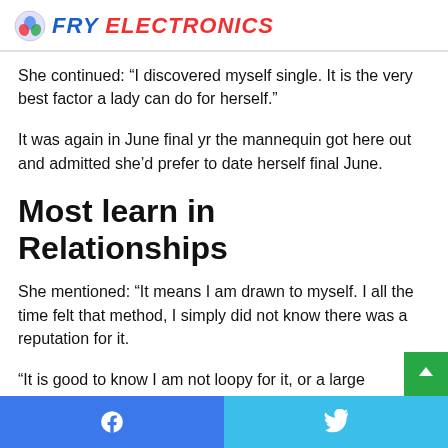FRY ELECTRONICS
She continued: “I discovered myself single. It is the very best factor a lady can do for herself.”
It was again in June final yr the mannequin got here out and admitted she’d prefer to date herself final June.
Most learn in Relationships
She mentioned: “It means I am drawn to myself. I all the time felt that method, I simply did not know there was a reputation for it.
“It is good to know I am not loopy for it, or a large narcissist, it is one thing actual that lots of people expertise.
Facebook | Twitter